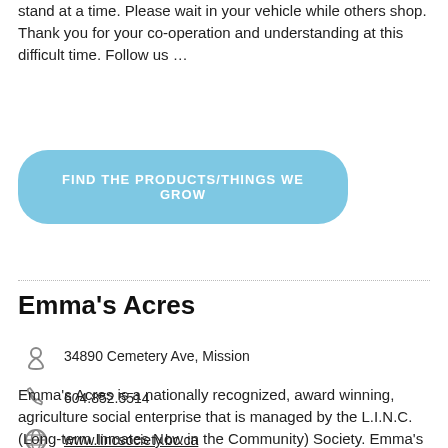stand at a time. Please wait in your vehicle while others shop. Thank you for your co-operation and understanding at this difficult time. Follow us …
FIND THE PRODUCTS/THINGS WE GROW
Emma's Acres
34890 Cemetery Ave, Mission
604.852.5514
www.lincsociety.bc.ca
Emma's Acres is a nationally recognized, award winning, agriculture social enterprise that is managed by the L.I.N.C. (Long-term Inmates Now in the Community) Society. Emma's Acres provides offenders with employment skills and reintegration supports as they are